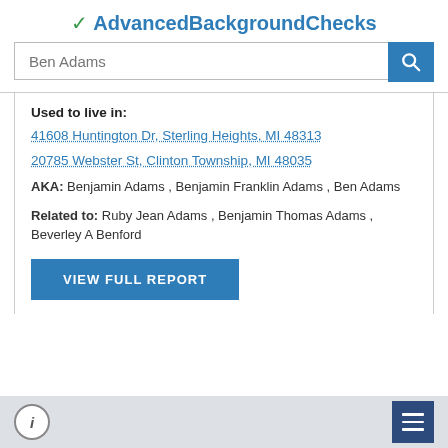AdvancedBackgroundChecks
Ben Adams
Used to live in:
41608 Huntington Dr, Sterling Heights, MI 48313
20785 Webster St, Clinton Township, MI 48035
AKA: Benjamin Adams , Benjamin Franklin Adams , Ben Adams
Related to: Ruby Jean Adams , Benjamin Thomas Adams , Beverley A Benford
VIEW FULL REPORT